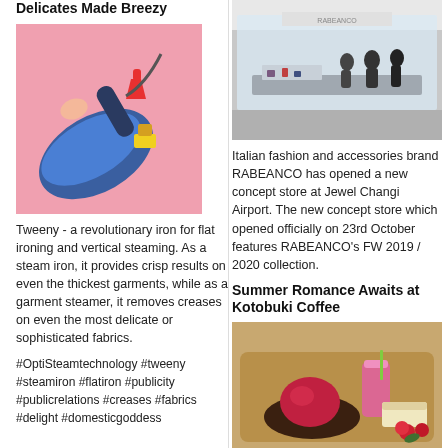Delicates Made Breezy
[Figure (photo): A blue steam iron on a pink background with small pixel-art clothing icons and a red mini dress cutout]
Tweeny - a revolutionary iron for flat ironing and vertical steaming. As a steam iron, it provides crisp results on even the thickest garments, while as a garment steamer, it removes creases on even the most delicate or sophisticated fabrics.
#OptiSteamtechnology #tweeny #steamiron #flatiron #publicity #publicrelations #creases #fabrics #delight #domesticgoddess
[Figure (photo): Interior of RABEANCO concept store at Jewel Changi Airport with shoppers and display cases]
Italian fashion and accessories brand RABEANCO has opened a new concept store at Jewel Changi Airport. The new concept store which opened officially on 23rd October features RABEANCO's FW 2019 / 2020 collection.
Summer Romance Awaits at Kotobuki Coffee
[Figure (photo): A tray with a pink smoothie drink, a scoop of red berry dessert, and red roses on a wooden tray]